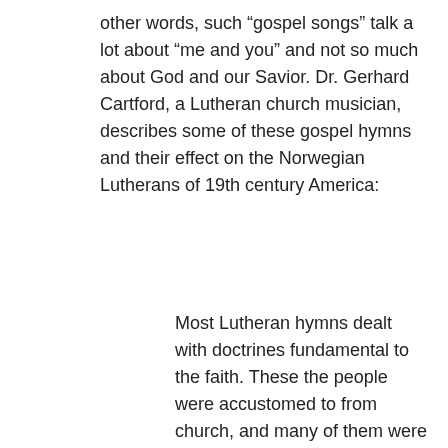other words, such “gospel songs” talk a lot about “me and you” and not so much about God and our Savior. Dr. Gerhard Cartford, a Lutheran church musician, describes some of these gospel hymns and their effect on the Norwegian Lutherans of 19th century America:
Most Lutheran hymns dealt with doctrines fundamental to the faith. These the people were accustomed to from church, and many of them were dear to them. But in the nineteenth century there was an insistent demand for a new type of expression. It sprang from the revivals of the century, and with the revivals came a type of music which was at the same time more superficial and more emotional than the regular hymns of the church. The Norwegians were caught up in it, as were most of the Americans around them What are the characteristics of [this] type of music? There is